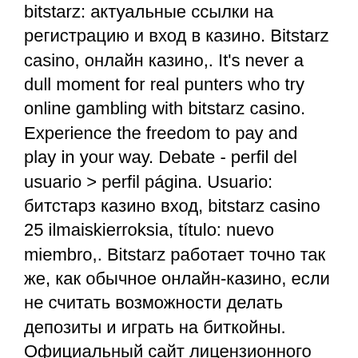bitstarz: актуальные ссылки на регистрацию и вход в казино. Bitstarz casino, онлайн казино,. It's never a dull moment for real punters who try online gambling with bitstarz casino. Experience the freedom to pay and play in your way. Debate - perfil del usuario &gt; perfil página. Usuario: битстарз казино вход, bitstarz casino 25 ilmaiskierroksia, título: nuevo miembro,. Bitstarz работает точно так же, как обычное онлайн-казино, если не считать возможности делать депозиты и играть на биткойны. Официальный сайт лицензионного казино bitstarz в России. Играть на деньги в лучшие слоты бренда битстарз в 2022 году. Официальный сайт лицензионного казино bitstarz в России. Играть на деньги в лучшие слоты бренда битстарз в 2022 году. Bitstarz – это уникальное онлайн-казино, которое открывает новый мир каждому игроку. Пополните счет и получи 100% на первый